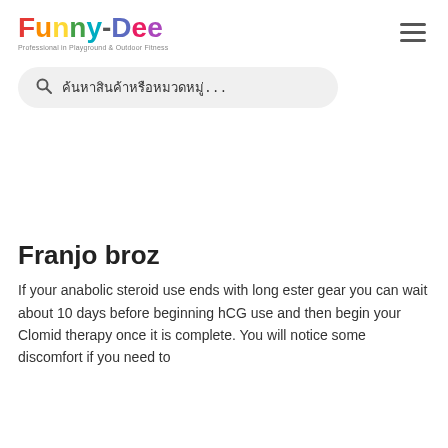Funny-Dee - Professional in Playground & Outdoor Fitness
ค้นหาสินค้าหรือหมวดหมู่...
Franjo broz
If your anabolic steroid use ends with long ester gear you can wait about 10 days before beginning hCG use and then begin your Clomid therapy once it is complete. You will notice some discomfort if you need to